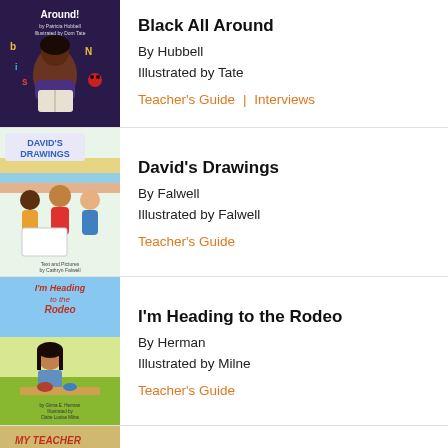[Figure (illustration): Book cover: Black All Around - child reading with letters floating around]
Black All Around
By Hubbell
Illustrated by Tate
Teacher's Guide | Interviews
[Figure (illustration): Book cover: David's Drawings - children holding a drawing]
David's Drawings
By Falwell
Illustrated by Falwell
Teacher's Guide
[Figure (illustration): Book cover: I'm Heading to the Rodeo - girl sitting at table]
I'm Heading to the Rodeo
By Herman
Illustrated by Milne
Teacher's Guide
[Figure (illustration): Book cover: My Teacher (partially visible)]